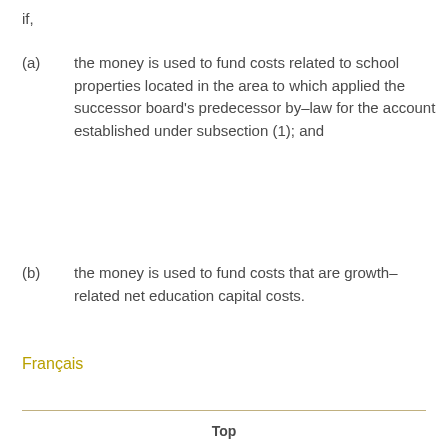if,
(a) the money is used to fund costs related to school properties located in the area to which applied the successor board’s predecessor by–law for the account established under subsection (1); and
(b) the money is used to fund costs that are growth–related net education capital costs.
Français
Top